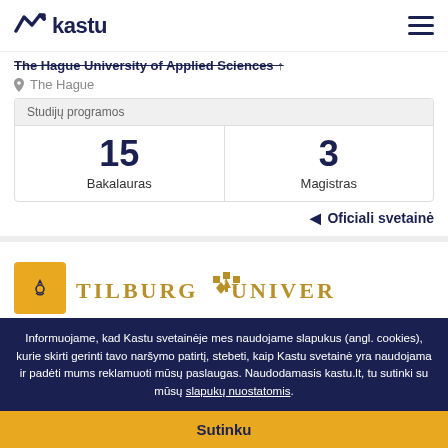kastu
The Hague University of Applied Sciences
The Hague
Studijų programos
|  |  |
| --- | --- |
| 15
Bakalauras | 3
Magistras |
◀ Oficiali svetainė
[Figure (logo): Tilburg University logo with gold shield icon and diamond decorations]
Informuojame, kad Kastu svetainėje mes naudojame slapukus (angl. cookies), kurie skirti gerinti tavo naršymo patirtį, stebeti, kaip Kastu svetainė yra naudojama ir padėti mums reklamuoti mūsų paslaugas. Naudodamasis kastu.lt, tu sutinki su mūsų slapukų nuostatomis.
Sutinku